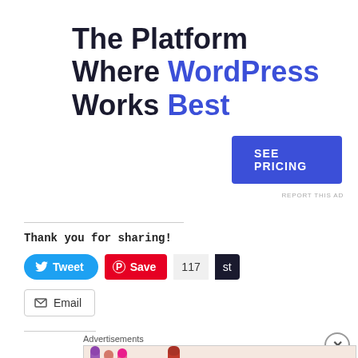[Figure (infographic): Advertisement banner: 'The Platform Where WordPress Works Best' with a blue 'SEE PRICING' button]
REPORT THIS AD
Thank you for sharing!
[Figure (infographic): Social sharing buttons: Tweet, Save (Pinterest), 117 count, st, Email]
Advertisements
[Figure (infographic): MAC cosmetics advertisement banner with lipsticks and 'SHOP NOW' button]